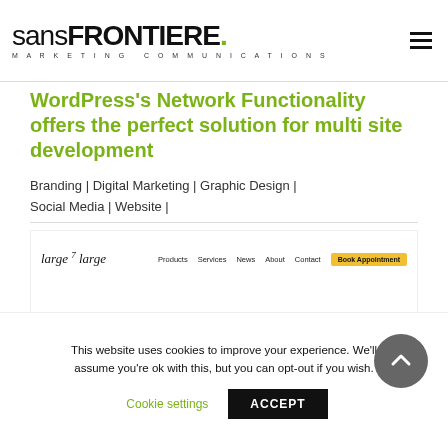[Figure (logo): Sans Frontiere Marketing Communications logo — stylized wordmark with 'sans' in light weight and 'FRONTIERE.' in heavy weight with a green dot, subtitle 'MARKETING COMMUNICATIONS' in wide spaced caps]
WordPress's Network Functionality offers the perfect solution for multi site development
Branding | Digital Marketing | Graphic Design | Social Media | Website |
[Figure (screenshot): Website screenshot showing 'large 7 large' logo on left, navigation: Products, Services, News, About, Contact, and a yellow 'Book Appointment' button on right]
This website uses cookies to improve your experience. We'll assume you're ok with this, but you can opt-out if you wish.
Cookie settings   ACCEPT